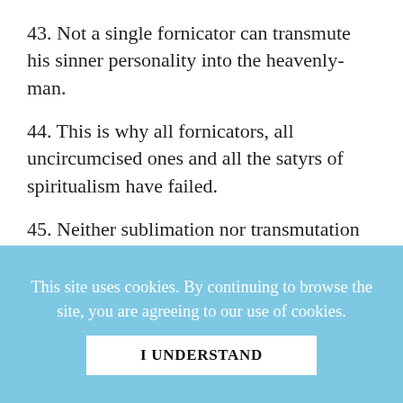43. Not a single fornicator can transmute his sinner personality into the heavenly-man.
44. This is why all fornicators, all uncircumcised ones and all the satyrs of spiritualism have failed.
45. Neither sublimation nor transmutation can exist without first reducing our old personality into the semen from which it was formed.
This site uses cookies. By continuing to browse the site, you are agreeing to our use of cookies.
I UNDERSTAND